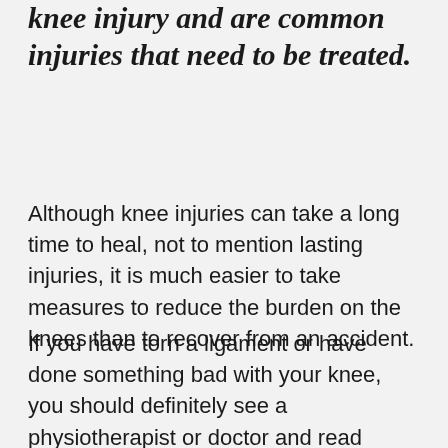knee injury and are common injuries that need to be treated.
Although knee injuries can take a long time to heal, not to mention lasting injuries, it is much easier to take measures to reduce the burden on the knees than to recover from an accident.
If you have torn a ligament or have done something bad with your knee, you should definitely see a physiotherapist or doctor and read about knee injuries. If you can't relieve knee pain by participating in the activities